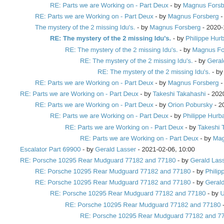RE: Parts we are Working on - Part Deux - by Magnus Forsberg - 202…
RE: Parts we are Working on - Part Deux - by Magnus Forsberg - 2020-12-…
The mystery of the 2 missing Idu's. - by Magnus Forsberg - 2020-12-25, 12:4…
RE: The mystery of the 2 missing Idu's. - by Philippe Hurbain - 2020-1…
RE: The mystery of the 2 missing Idu's. - by Magnus Forsberg - 2020-1…
RE: The mystery of the 2 missing Idu's. - by Gerald Lasser - 2020-12…
RE: The mystery of the 2 missing Idu's. - by Magnus Forsberg - 2…
RE: Parts we are Working on - Part Deux - by Magnus Forsberg - 2021-01-0…
RE: Parts we are Working on - Part Deux - by Takeshi Takahashi - 2020-12-22
RE: Parts we are Working on - Part Deux - by Orion Pobursky - 2020-12-22
RE: Parts we are Working on - Part Deux - by Philippe Hurbain - 2020-12…
RE: Parts we are Working on - Part Deux - by Takeshi Takahashi - 202…
RE: Parts we are Working on - Part Deux - by Magnus Forsberg - 2…
Escalator Part 69900 - by Gerald Lasser - 2021-02-06, 10:00
RE: Porsche 10295 Rear Mudguard 77182 and 77180 - by Gerald Lasser - 2…
RE: Porsche 10295 Rear Mudguard 77182 and 77180 - by Philippe Hurba…
RE: Porsche 10295 Rear Mudguard 77182 and 77180 - by Gerald Lasser…
RE: Porsche 10295 Rear Mudguard 77182 and 77180 - by Ulrich Röde…
RE: Porsche 10295 Rear Mudguard 77182 and 77180 - by Philippe…
RE: Porsche 10295 Rear Mudguard 77182 and 77180 - by Magn…
RE: Porsche 10295 Rear Mudguard 77182 and 77180 - by Ma…
RE: Parts we are Working on - Part Deux - by N. W. Perry - 2021-03-06, 23:29
RE: Parts we are Working on - Part Deux - VIDIYO Parts - by Gerald Lasse…
RE: Parts we are Working on - Part Deux - by Philippe Hurbain - 2021-05-30, 8…
RE: Parts we are Working on - Part Deux - by Magnus Forsberg - 2021-06-04